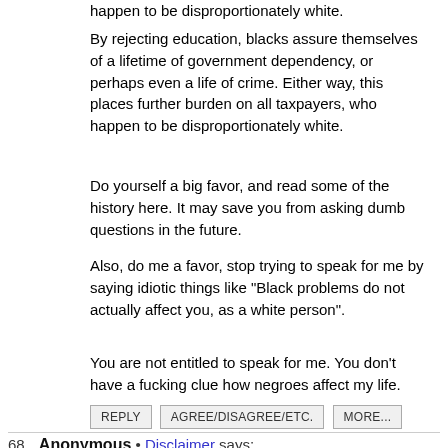happen to be disproportionately white.
By rejecting education, blacks assure themselves of a lifetime of government dependency, or perhaps even a life of crime. Either way, this places further burden on all taxpayers, who happen to be disproportionately white.
Do yourself a big favor, and read some of the history here. It may save you from asking dumb questions in the future.
Also, do me a favor, stop trying to speak for me by saying idiotic things like "Black problems do not actually affect you, as a white person".
You are not entitled to speak for me. You don't have a fucking clue how negroes affect my life.
REPLY   AGREE/DISAGREE/ETC.   MORE...
68. Anonymous • Disclaimer says: August 3, 2011 at 3:49 pm GMT • 11.2 years ago • 100 Words ↑